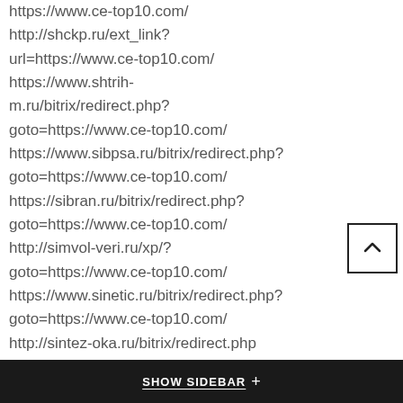https://www.ce-top10.com/ http://shckp.ru/ext_link?url=https://www.ce-top10.com/ https://www.shtrih-m.ru/bitrix/redirect.php?goto=https://www.ce-top10.com/ https://www.sibpsa.ru/bitrix/redirect.php?goto=https://www.ce-top10.com/ https://sibran.ru/bitrix/redirect.php?goto=https://www.ce-top10.com/ http://simvol-veri.ru/xp/?goto=https://www.ce-top10.com/ https://www.sinetic.ru/bitrix/redirect.php?goto=https://www.ce-top10.com/ http://sintez-oka.ru/bitrix/redirect.php?goto=https://www.ce-top10.com/ https://skamata.ru/bitrix/redirect.php?goto=https://www.ce-top10.com/ https://skibaza.ru/bitrix/rk.php?goto=https://www.ce-top10.com/ http://www.skladcom.ru/(S(qdiwhk55jkcyok4... url=https://www.ce-top10.com/... https://skascom.ru/...
SHOW SIDEBAR +